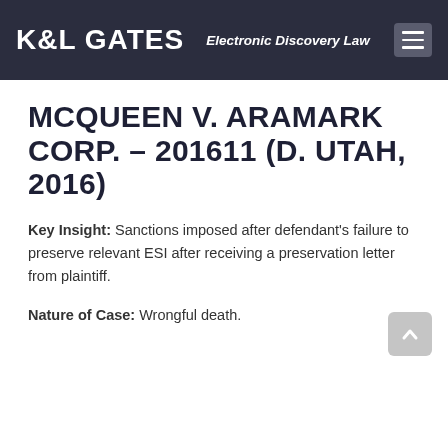K&L GATES  Electronic Discovery Law
MCQUEEN V. ARAMARK CORP. – 201611 (D. UTAH, 2016)
Key Insight: Sanctions imposed after defendant's failure to preserve relevant ESI after receiving a preservation letter from plaintiff.
Nature of Case: Wrongful death.